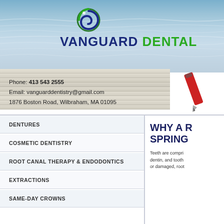[Figure (illustration): Vanguard Dental header banner with water/ocean background, wooden dock planks, and a pen in the lower right. Contains the Vanguard Dental logo with a spiral icon.]
VANGUARD DENTAL
Phone: 413 543 2555
Email: vanguarddentistry@gmail.com
1876 Boston Road, Wilbraham, MA 01095
DENTURES
COSMETIC DENTISTRY
ROOT CANAL THERAPY & ENDODONTICS
EXTRACTIONS
SAME-DAY CROWNS
WHY A R... SPRING...
Teeth are compri... dentin, and tooth... or damaged, root...